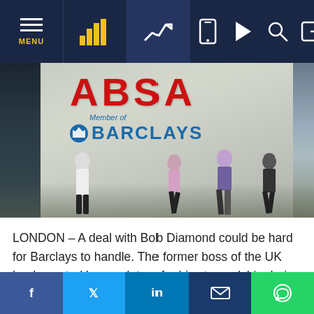[Figure (screenshot): Website navigation bar with menu icon, bar chart icon, line chart icon, and right-side icons for mobile, play, search, and login on dark navy background]
[Figure (photo): ABSA bank building exterior with large red ABSA sign and blue Barclays Member branding. People walking on the pavement in front of the building.]
LONDON – A deal with Bob Diamond could be hard for Barclays to handle. The former boss of the UK bank, ousted by regulators for his stewardship during the Libor scandal, has previously talked to a sovereign wealth fund
[Figure (screenshot): Social media share bar with Facebook, Twitter, LinkedIn, Email, and WhatsApp buttons]